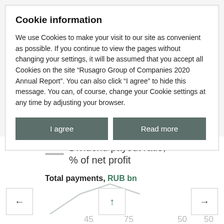Cookie information
We use Cookies to make your visit to our site as convenient as possible. If you continue to view the pages without changing your settings, it will be assumed that you accept all Cookies on the site “Rusagro Group of Companies 2020 Annual Report”. You can also click “I agree” to hide this message. You can, of course, change your Cookie settings at any time by adjusting your browser.
I agree
Read more
Dividend payout ratio, % of net profit
Total payments, RUB bn
[Figure (line-chart): Partial view of a line/area chart showing dividend payout data with values 45, 75, 50, 50 visible on x-axis, with navigation arrows (left, up, right)]